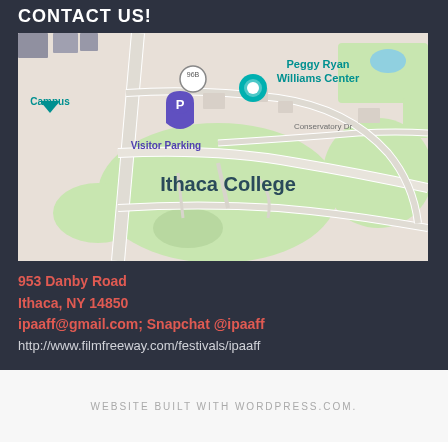CONTACT US!
[Figure (map): Google Maps screenshot showing Ithaca College campus area with Peggy Ryan Williams Center, Visitor Parking, and Conservatory Dr labeled. Route 96B visible on left side.]
953 Danby Road
Ithaca, NY 14850
ipaaff@gmail.com; Snapchat @ipaaff
http://www.filmfreeway.com/festivals/ipaaff
WEBSITE BUILT WITH WORDPRESS.COM.